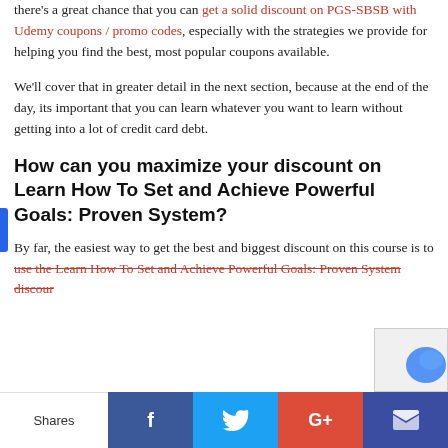there's a great chance that you can get a solid discount on PGS-SBSB with Udemy coupons / promo codes, especially with the strategies we provide for helping you find the best, most popular coupons available.
We'll cover that in greater detail in the next section, because at the end of the day, its important that you can learn whatever you want to learn without getting into a lot of credit card debt.
How can you maximize your discount on Learn How To Set and Achieve Powerful Goals: Proven System?
By far, the easiest way to get the best and biggest discount on this course is to use the Learn How To Set and Achieve Powerful Goals: Proven System discour
[Figure (infographic): Social share bar at bottom with Shares label, Facebook (blue), Twitter (cyan), Google+ (red), and email/bookmark (dark blue) buttons.]